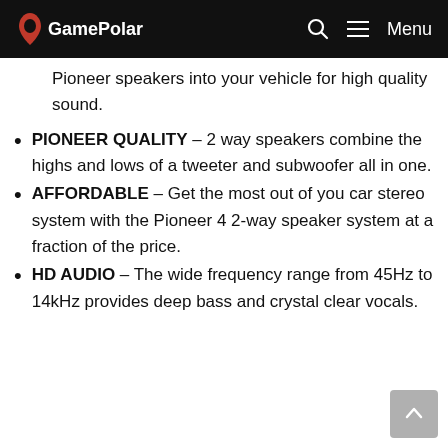GamePolar | Menu
Pioneer speakers into your vehicle for high quality sound.
PIONEER QUALITY – 2 way speakers combine the highs and lows of a tweeter and subwoofer all in one.
AFFORDABLE – Get the most out of you car stereo system with the Pioneer 4 2-way speaker system at a fraction of the price.
HD AUDIO – The wide frequency range from 45Hz to 14kHz provides deep bass and crystal clear vocals.